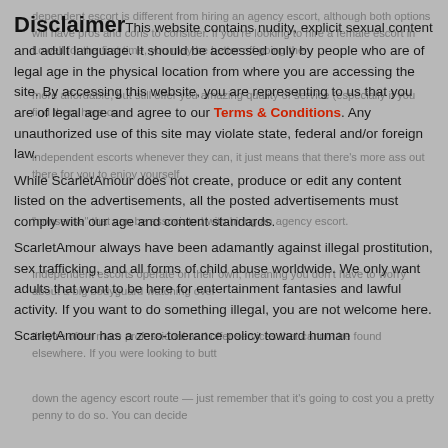Disclaimer This website contains nudity, explicit sexual content and adult language. It should be accessed only by people who are of legal age in the physical location from where you are accessing the site. By accessing this website, you are representing to us that you are of legal age and agree to our Terms & Conditions. Any unauthorized use of this site may violate state, federal and/or foreign law. While ScarletAmour does not create, produce or edit any content listed on the advertisements, all the posted advertisements must comply with our age and content standards. ScarletAmour always have been adamantly against illegal prostitution, sex trafficking, and all forms of child abuse worldwide. We only want adults that want to be here for entertainment fantasies and lawful activity. If you want to do something illegal, you are not welcome here. ScarletAmour has a zero-tolerance policy toward human